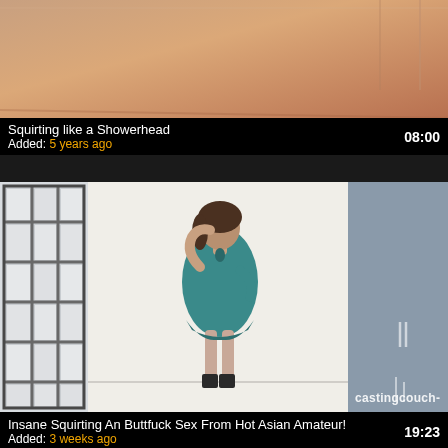[Figure (screenshot): Video thumbnail showing a person, cropped at the top]
Squirting like a Showerhead
Added: 5 years ago
08:00
[Figure (screenshot): Video thumbnail showing a woman in a teal romper standing in a studio room with a grid-patterned room divider on the left and grey panel on the right, castingcouch watermark]
Insane Squirting An Buttfuck Sex From Hot Asian Amateur!
Added: 3 weeks ago
19:23